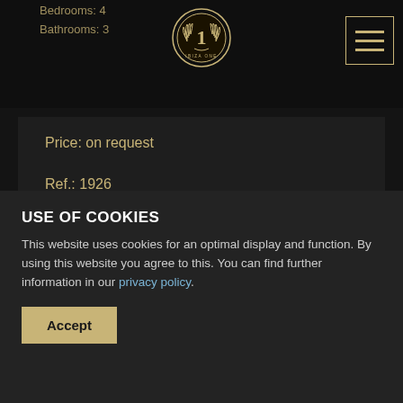Bedrooms: 4
Bathrooms: 3
[Figure (logo): Ibiza One circular gold laurel wreath logo with number 1]
Price: on request
Ref.: 1926
Rolf Blakstad project for sale on a beautiful plot with a view to Ibiza
USE OF COOKIES
This website uses cookies for an optimal display and function. By using this website you agree to this. You can find further information in our privacy policy.
Accept